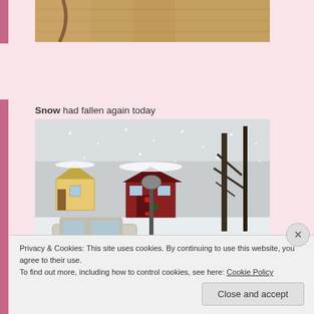[Figure (photo): Partial view of a photo showing a wooden surface with a green star-shaped decoration, cropped at the top of the page.]
Snow had fallen again today
[Figure (photo): A snowy outdoor scene showing houses and trees covered in snow, with a decorated lamp post in the center and a white SUV parked on the left. Snow is falling.]
Privacy & Cookies: This site uses cookies. By continuing to use this website, you agree to their use.
To find out more, including how to control cookies, see here: Cookie Policy
Close and accept